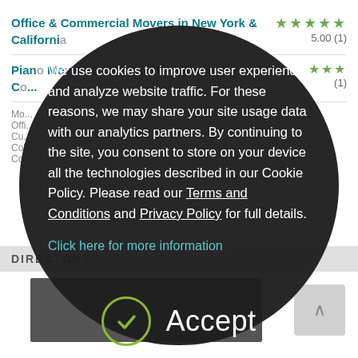Office & Commercial Movers in New York & California
5.00 (1)
Piano Movers in DC, MD, VA - Piano Moving Co...
(1)
[Figure (screenshot): Cookie consent overlay on a dark circular modal. Text reads: 'We use cookies to improve user experience, and analyze website traffic. For these reasons, we may share your site usage data with our analytics partners. By continuing to the site, you consent to store on your device all the technologies described in our Cookie Policy. Please read our Terms and Conditions and Privacy Policy for full details.' Below is a link 'Click here for more information' and an Accept button with a checkmark circle.]
We use cookies to improve user experience, and analyze website traffic. For these reasons, we may share your site usage data with our analytics partners. By continuing to the site, you consent to store on your device all the technologies described in our Cookie Policy. Please read our Terms and Conditions and Privacy Policy for full details.
Click here for more information
Accept